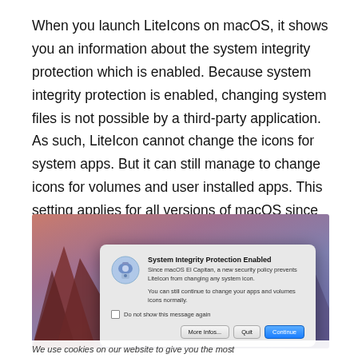When you launch LiteIcons on macOS, it shows you an information about the system integrity protection which is enabled. Because system integrity protection is enabled, changing system files is not possible by a third-party application. As such, LiteIcon cannot change the icons for system apps. But it can still manage to change icons for volumes and user installed apps. This setting applies for all versions of macOS since macOS El Capitan.
[Figure (screenshot): macOS dialog box titled 'System Integrity Protection Enabled' with an icon of a camera/lock, text explaining that since macOS El Capitan a new security policy prevents LiteIcon from changing any system icon, and that the user can still change apps and volumes icons normally. Contains a checkbox 'Do not show this message again' and three buttons: More Infos..., Quit, Continue (blue).]
We use cookies on our website to give you the most...